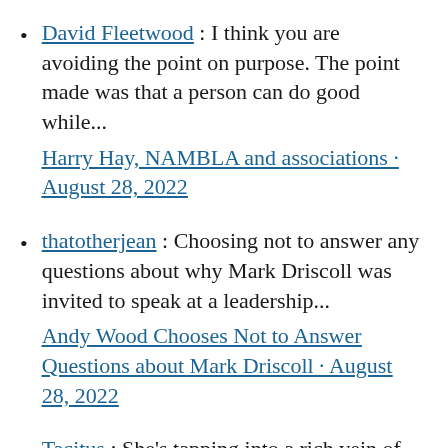David Fleetwood : I think you are avoiding the point on purpose. The point made was that a person can do good while... Harry Hay, NAMBLA and associations · August 28, 2022
thatotherjean : Choosing not to answer any questions about why Mark Driscoll was invited to speak at a leadership... Andy Wood Chooses Not to Answer Questions about Mark Driscoll · August 28, 2022
Tacitus : She's tapping into a rich vein of corruption and abuse of power that's rarely